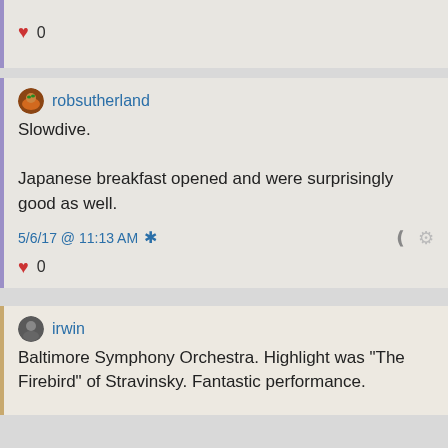♥ 0
robsutherland
Slowdive.

Japanese breakfast opened and were surprisingly good as well.

5/6/17 @ 11:13 AM *
♥ 0
irwin
Baltimore Symphony Orchestra. Highlight was "The Firebird" of Stravinsky. Fantastic performance.